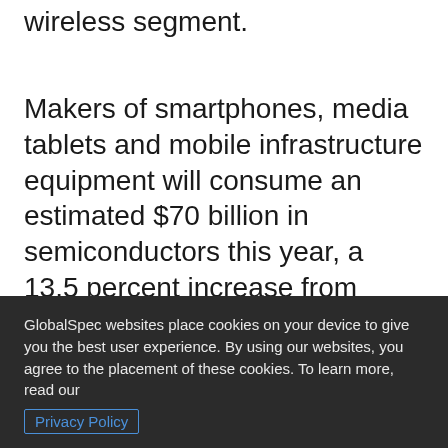wireless segment.
Makers of smartphones, media tablets and mobile infrastructure equipment will consume an estimated $70 billion in semiconductors this year, a 13.5 percent increase from $62.3 billion in 2012, according to IHS. This represents the highest growth rate of the seven major semiconductor application markets tracked by IHS, with the others set to undergo annual changes ranging from a 6.5 percent expansion
GlobalSpec websites place cookies on your device to give you the best user experience. By using our websites, you agree to the placement of these cookies. To learn more, read our Privacy Policy